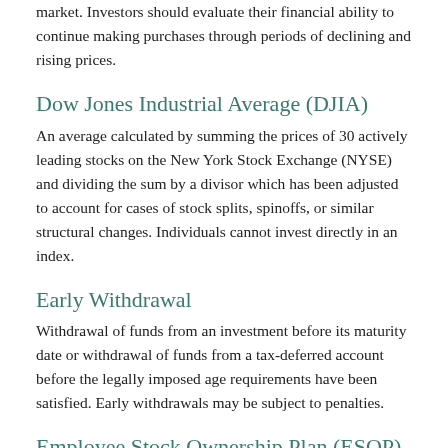market. Investors should evaluate their financial ability to continue making purchases through periods of declining and rising prices.
Dow Jones Industrial Average (DJIA)
An average calculated by summing the prices of 30 actively leading stocks on the New York Stock Exchange (NYSE) and dividing the sum by a divisor which has been adjusted to account for cases of stock splits, spinoffs, or similar structural changes. Individuals cannot invest directly in an index.
Early Withdrawal
Withdrawal of funds from an investment before its maturity date or withdrawal of funds from a tax-deferred account before the legally imposed age requirements have been satisfied. Early withdrawals may be subject to penalties.
Employee Stock Ownership Plan (ESOP)
A defined-contribution plan that provides a company's